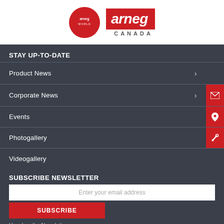[Figure (logo): Arneg World circular red logo and Arneg Canada rectangular wordmark logo]
STAY UP-TO-DATE
Product News
Corporate News
Events
Photogallery
Videogallery
SUBSCRIBE NEWSLETTER
Enter your email address
SUBSCRIBE
Unsubscribe Newsletter